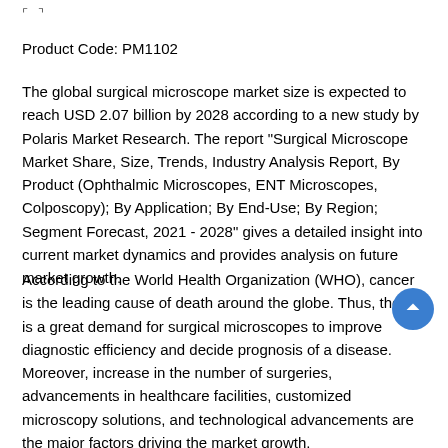⊓  ⊓
Product Code: PM1102
The global surgical microscope market size is expected to reach USD 2.07 billion by 2028 according to a new study by Polaris Market Research. The report "Surgical Microscope Market Share, Size, Trends, Industry Analysis Report, By Product (Ophthalmic Microscopes, ENT Microscopes, Colposcopy); By Application; By End-Use; By Region; Segment Forecast, 2021 - 2028" gives a detailed insight into current market dynamics and provides analysis on future market growth.
According to the World Health Organization (WHO), cancer is the leading cause of death around the globe. Thus, there is a great demand for surgical microscopes to improve diagnostic efficiency and decide prognosis of a disease. Moreover, increase in the number of surgeries, advancements in healthcare facilities, customized microscopy solutions, and technological advancements are the major factors driving the market growth.